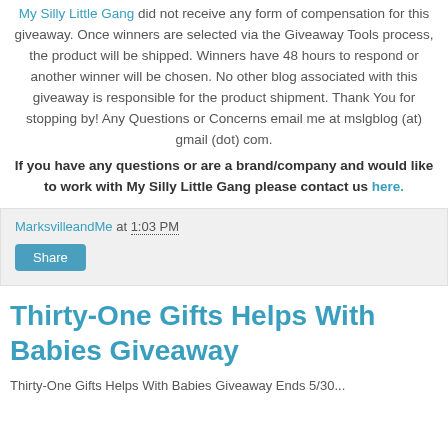My Silly Little Gang did not receive any form of compensation for this giveaway. Once winners are selected via the Giveaway Tools process, the product will be shipped. Winners have 48 hours to respond or another winner will be chosen. No other blog associated with this giveaway is responsible for the product shipment. Thank You for stopping by! Any Questions or Concerns email me at mslgblog (at) gmail (dot) com.
If you have any questions or are a brand/company and would like to work with My Silly Little Gang please contact us here.
MarksvilleandMe at 1:03 PM
Share
Thirty-One Gifts Helps With Babies Giveaway
Thirty-One Gifts Helps With Babies Giveaway Ends 5/30...